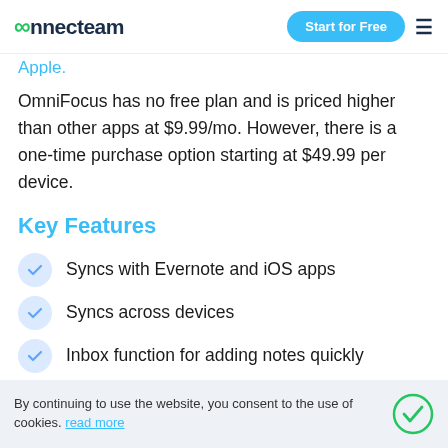connecteam | Start for Free
theoretically be accessed by anyone. Apple devices only. Apple.
OmniFocus has no free plan and is priced higher than other apps at $9.99/mo. However, there is a one-time purchase option starting at $49.99 per device.
Key Features
Syncs with Evernote and iOS apps
Syncs across devices
Inbox function for adding notes quickly
Forecast tab to prioritize upcoming due dates
By continuing to use the website, you consent to the use of cookies. read more